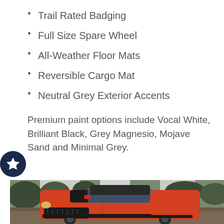Trail Rated Badging
Full Size Spare Wheel
All-Weather Floor Mats
Reversible Cargo Mat
Neutral Grey Exterior Accents
Premium paint options include Vocal White, Brilliant Black, Grey Magnesio, Mojave Sand and Minimal Grey.
[Figure (photo): Orange Jeep Compass SUV driving on a dirt trail surrounded by trees, front 3/4 view showing black hood, black trim, and the vehicle navigating rough terrain.]